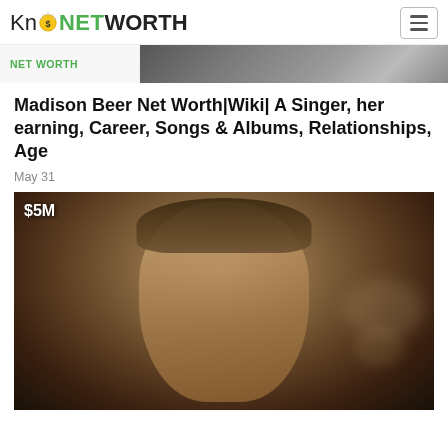KnowNETWORTH
[Figure (photo): Partial top banner image strip showing NET WORTH label and a person's photo]
Madison Beer Net Worth|Wiki| A Singer, her earning, Career, Songs & Albums, Relationships, Age
May 31
[Figure (photo): Photo of a man in a suit with $5M net worth label overlaid in top left corner]